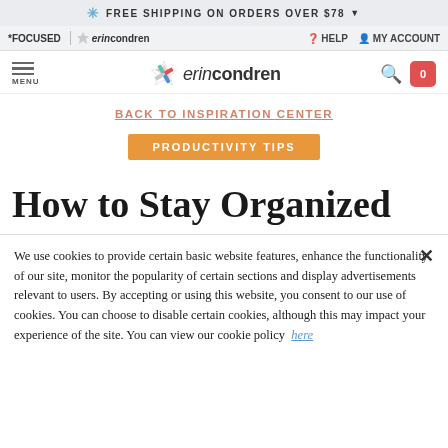✳ FREE SHIPPING ON ORDERS OVER $78 ▼
*FOCUSED   erincondren   HELP   MY ACCOUNT
MENU   erincondren   [search] [cart: 0]
BACK TO INSPIRATION CENTER
PRODUCTIVITY TIPS
How to Stay Organized
We use cookies to provide certain basic website features, enhance the functionality of our site, monitor the popularity of certain sections and display advertisements relevant to users. By accepting or using this website, you consent to our use of cookies. You can choose to disable certain cookies, although this may impact your experience of the site. You can view our cookie policy here